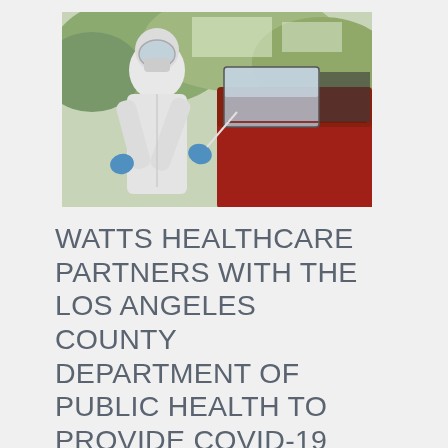[Figure (photo): A healthcare worker in a white protective hazmat suit, blue gloves, face shield and mask administering a COVID-19 nasal swab test through the window of a red car. Green foliage visible in the background.]
WATTS HEALTHCARE PARTNERS WITH THE LOS ANGELES COUNTY DEPARTMENT OF PUBLIC HEALTH TO PROVIDE COVID-19 TESTING SERVICES